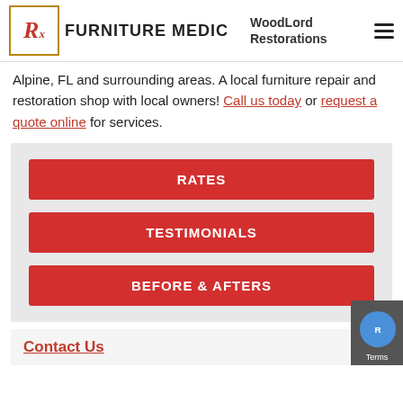Furniture Medic | WoodLord Restorations
Alpine, FL and surrounding areas. A local furniture repair and restoration shop with local owners! Call us today or request a quote online for services.
[Figure (infographic): Three red buttons on gray background: RATES, TESTIMONIALS, BEFORE & AFTERS]
Contact Us